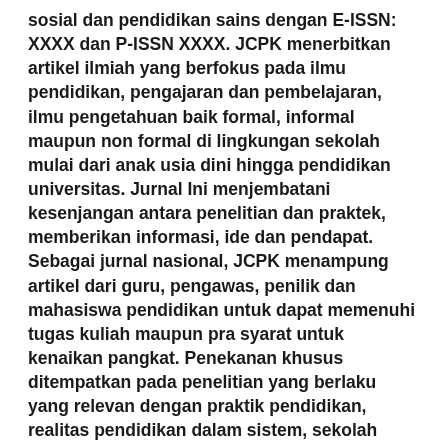sosial dan pendidikan sains dengan E-ISSN: XXXX dan P-ISSN XXXX. JCPK menerbitkan artikel ilmiah yang berfokus pada ilmu pendidikan, pengajaran dan pembelajaran, ilmu pengetahuan baik formal, informal maupun non formal di lingkungan sekolah mulai dari anak usia dini hingga pendidikan universitas. Jurnal Ini menjembatani kesenjangan antara penelitian dan praktek, memberikan informasi, ide dan pendapat. Sebagai jurnal nasional, JCPK menampung artikel dari guru, pengawas, penilik dan mahasiswa pendidikan untuk dapat memenuhi tugas kuliah maupun pra syarat untuk kenaikan pangkat. Penekanan khusus ditempatkan pada penelitian yang berlaku yang relevan dengan praktik pendidikan, realitas pendidikan dalam sistem, sekolah formal, informal dan non formal perguruan tinggi dan universitas. Diterbitkan oleh Yayasan Karinosseff Muda Indonesia dan akan terbit secara berkala dua kali dalam setahun, pada bulan